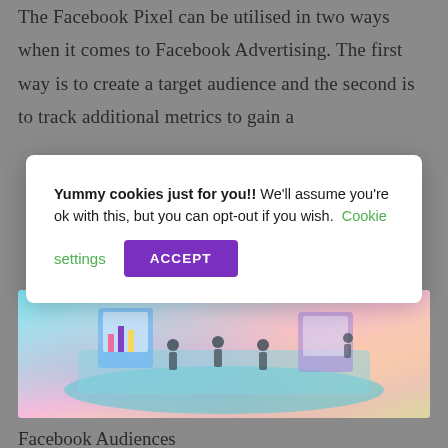The Facebook Pixel can be utilised in two ways when it comes to Facebook Advertising. The first way is to create a target audience and the second is to track additional metrics to gain a
[Figure (illustration): Isometric illustration of people working with digital devices and data analytics dashboards on a platform]
Facebook Audiences
Yummy cookies just for you!! We'll assume you're ok with this, but you can opt-out if you wish. Cookie settings ACCEPT